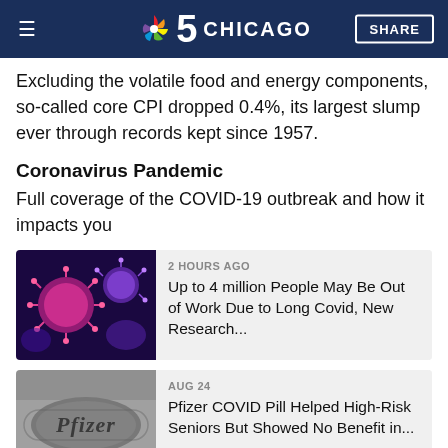NBC 5 Chicago
Excluding the volatile food and energy components, so-called core CPI dropped 0.4%, its largest slump ever through records kept since 1957.
Coronavirus Pandemic
Full coverage of the COVID-19 outbreak and how it impacts you
[Figure (photo): Microscopic image of coronavirus particles (red/pink spheres) against a blue/purple background]
2 HOURS AGO
Up to 4 million People May Be Out of Work Due to Long Covid, New Research...
[Figure (photo): Close-up of a metallic Pfizer logo badge]
AUG 24
Pfizer COVID Pill Helped High-Risk Seniors But Showed No Benefit in...
“In areas where demand has hung in, like ‘food at home’ we